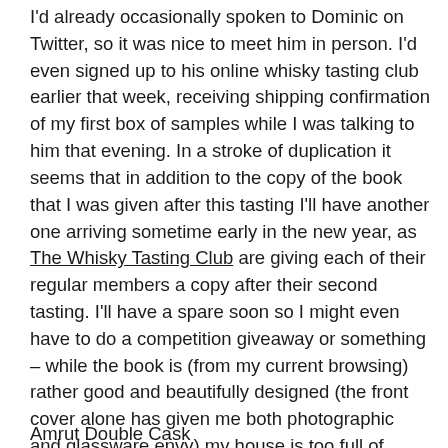I'd already occasionally spoken to Dominic on Twitter, so it was nice to meet him in person. I'd even signed up to his online whisky tasting club earlier that week, receiving shipping confirmation of my first box of samples while I was talking to him that evening. In a stroke of duplication it seems that in addition to the copy of the book that I was given after this tasting I'll have another one arriving sometime early in the new year, as The Whisky Tasting Club are giving each of their regular members a copy after their second tasting. I'll have a spare soon so I might even have to do a competition giveaway or something – while the book is (from my current browsing) rather good and beautifully designed (the front cover alone has given me both photographic and glassware envy) my house is too full of books and booze to allow any duplicates in. Worryingly, that even counts for booze...
Amrut Double Cask